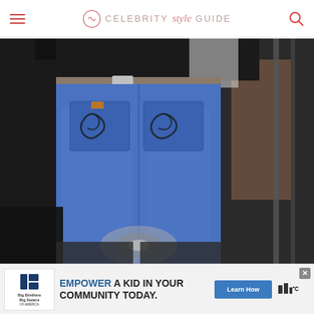Celebrity Style Guide
[Figure (photo): Close-up photo from behind of a person wearing blue jeans with decorative embroidered back pockets, a black top, and white shirt underneath, standing near a vehicle and metal stairs/railings with brick wall visible in background.]
[Figure (infographic): Advertisement banner: Big Brothers Big Sisters of America logo on left, text 'EMPOWER A KID IN YOUR COMMUNITY TODAY.' in center with 'Learn How' button, and weather widget on right.]